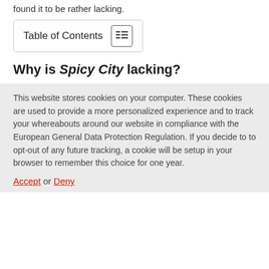found it to be rather lacking.
Table of Contents
Why is Spicy City lacking?
This website stores cookies on your computer. These cookies are used to provide a more personalized experience and to track your whereabouts around our website in compliance with the European General Data Protection Regulation. If you decide to to opt-out of any future tracking, a cookie will be setup in your browser to remember this choice for one year.
Accept or Deny